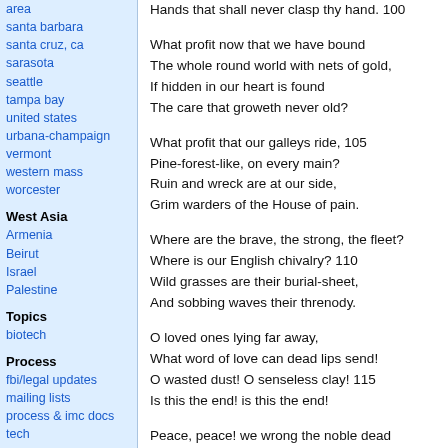area
santa barbara
santa cruz, ca
sarasota
seattle
tampa bay
united states
urbana-champaign
vermont
western mass
worcester
West Asia
Armenia
Beirut
Israel
Palestine
Topics
biotech
Process
fbi/legal updates
mailing lists
process & imc docs
tech
Hands that shall never clasp thy hand. 100

What profit now that we have bound
The whole round world with nets of gold,
If hidden in our heart is found
The care that groweth never old?

What profit that our galleys ride, 105
Pine-forest-like, on every main?
Ruin and wreck are at our side,
Grim warders of the House of pain.

Where are the brave, the strong, the fleet?
Where is our English chivalry? 110
Wild grasses are their burial-sheet,
And sobbing waves their threnody.

O loved ones lying far away,
What word of love can dead lips send!
O wasted dust! O senseless clay! 115
Is this the end! is this the end!

Peace, peace! we wrong the noble dead
To vex their solemn slumber so;
Though childless, and with thorn-crowned head,
Up the steep road must England go, 120

Yet when this fiery web is spun,